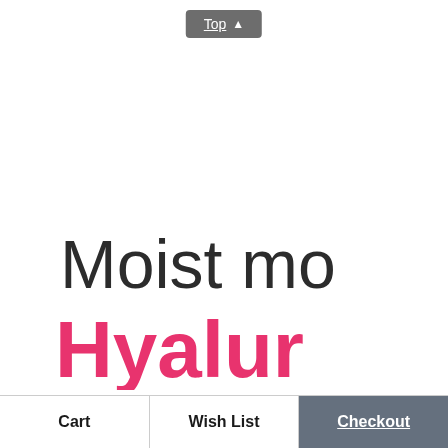[Figure (screenshot): Gray button with white text 'Top' and an upward arrow icon]
Moist mo
Hyalur
[Figure (photo): Blue water texture background image]
Cart | Wish List | Checkout